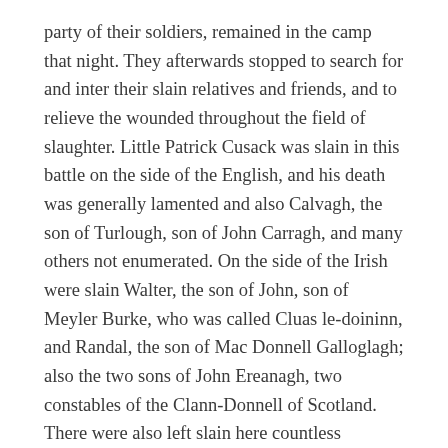party of their soldiers, remained in the camp that night. They afterwards stopped to search for and inter their slain relatives and friends, and to relieve the wounded throughout the field of slaughter. Little Patrick Cusack was slain in this battle on the side of the English, and his death was generally lamented and also Calvagh, the son of Turlough, son of John Carragh, and many others not enumerated. On the side of the Irish were slain Walter, the son of John, son of Meyler Burke, who was called Cluas le-doininn, and Randal, the son of Mac Donnell Galloglagh; also the two sons of John Ereanagh, two constables of the Clann-Donnell of Scotland. There were also left slain here countless numbers of Irish and Scots of the Clann-Donnell, the Clann-Sweeny, and of the adherents of the Burkes.
The Lower northern army, who had routed such of the forces, had by now reached that day...